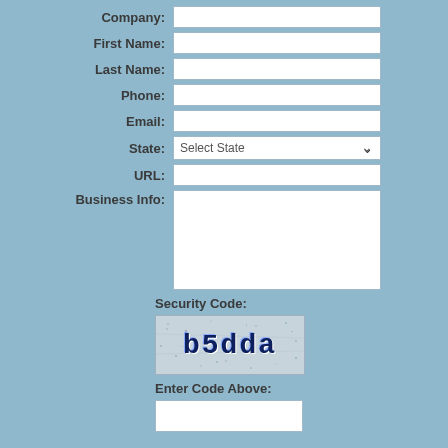Company:
First Name:
Last Name:
Phone:
Email:
State: [Select State dropdown]
URL:
Business Info: [textarea]
Security Code:
[Figure (other): CAPTCHA image showing the text 'b5dda' in bold dark blue letters on a noisy textured background]
Enter Code Above: